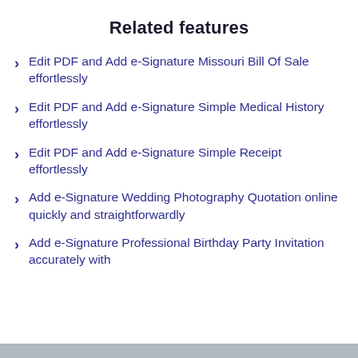Related features
Edit PDF and Add e-Signature Missouri Bill Of Sale effortlessly
Edit PDF and Add e-Signature Simple Medical History effortlessly
Edit PDF and Add e-Signature Simple Receipt effortlessly
Add e-Signature Wedding Photography Quotation online quickly and straightforwardly
Add e-Signature Professional Birthday Party Invitation accurately with